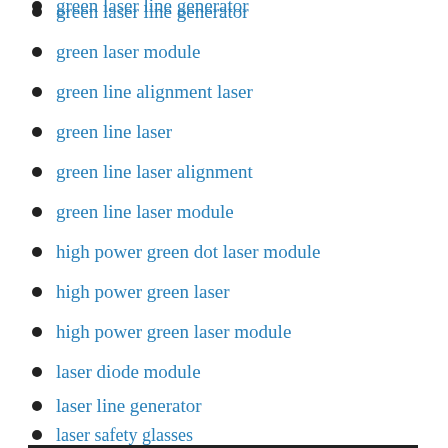green laser line generator
green laser module
green line alignment laser
green line laser
green line laser alignment
green line laser module
high power green dot laser module
high power green laser
high power green laser module
laser diode module
laser line generator
laser safety glasses
Uncategorized